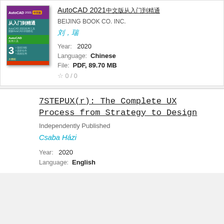[Figure (illustration): Book cover of AutoCAD 2021 Chinese edition with teal/green design, purple top band, and red bottom bar]
AutoCAD 2021中文版从入门到精通
BEIJING BOOK CO. INC.
刘, 瑞
Year:  2020
Language:  Chinese
File:  PDF, 89.70 MB
☆ 0 / 0
7STEPUX(r): The Complete UX Process from Strategy to Design
Independently Published
Csaba Házi
Year:  2020
Language:  English